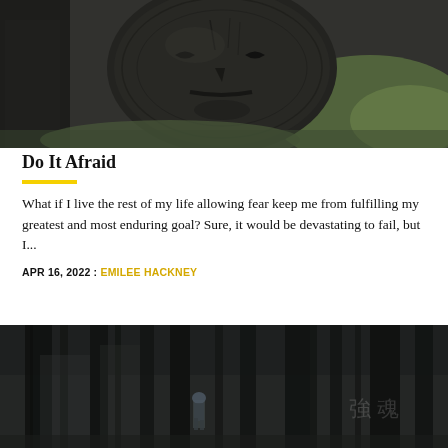[Figure (photo): Close-up of a carved dark wooden face/mask resting on grass and foliage]
Do It Afraid
What if I live the rest of my life allowing fear keep me from fulfilling my greatest and most enduring goal? Sure, it would be devastating to fail, but I...
APR 16, 2022 : EMILEE HACKNEY
[Figure (photo): Person hiking or running through a dark misty forest with tall trees]